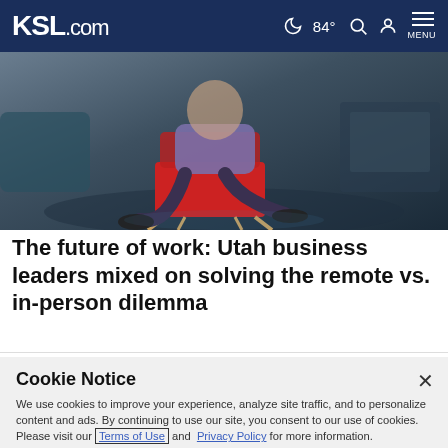KSL.com   84°  MENU
[Figure (photo): Person sitting in a red chair in a dimly lit room]
The future of work: Utah business leaders mixed on solving the remote vs. in-person dilemma
Cookie Notice
We use cookies to improve your experience, analyze site traffic, and to personalize content and ads. By continuing to use our site, you consent to our use of cookies. Please visit our Terms of Use and Privacy Policy for more information.
Continue